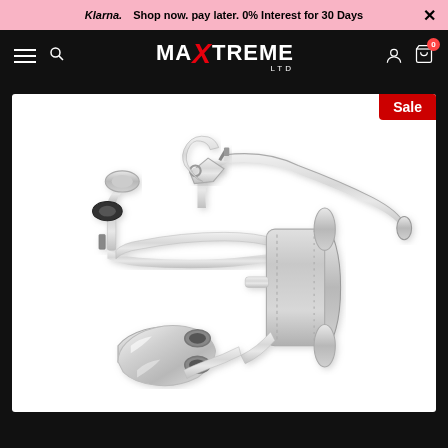Klarna. Shop now. pay later. 0% Interest for 30 Days ×
[Figure (screenshot): Maxtreme Ltd navigation bar with hamburger menu, search icon, logo, user icon, and cart with 0 items]
[Figure (photo): Stainless steel cat-back exhaust system components including pipes, silencer/muffler, and polished twin tip exhaust end, shown disassembled on white background. Sale badge in top right corner.]